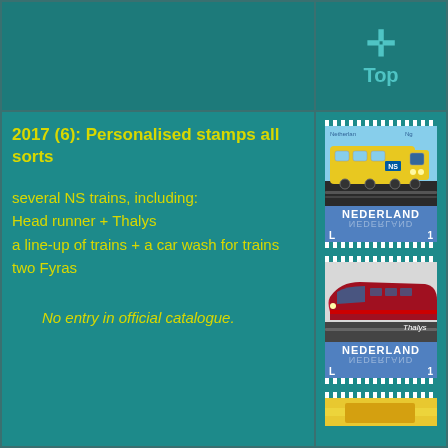[Figure (illustration): Top navigation area with a teal cross/plus icon and 'Top' label in teal on dark teal background]
2017 (6): Personalised stamps all sorts
several NS trains, including:
Head runner + Thalys
a line-up of trains + a car wash for trains
two Fyras
No entry in official catalogue.
[Figure (photo): Dutch postage stamp showing a yellow NS train (Head runner), with NEDERLAND text and denomination 1]
[Figure (photo): Dutch postage stamp showing a red Thalys train, with NEDERLAND text, Thalys label, and denomination 1]
[Figure (photo): Partial Dutch postage stamp showing a yellow train at bottom of page]